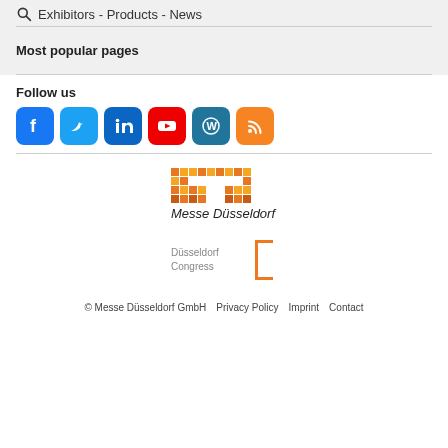Exhibitors - Products - News
Most popular pages
Follow us
[Figure (logo): Six social media icons: Facebook (blue), Twitter (blue), LinkedIn (dark blue), YouTube (red), WordPress (blue), RSS (orange)]
[Figure (logo): Messe Düsseldorf logo with pixelated orange/yellow graphic and text 'Messe Düsseldorf']
[Figure (logo): Düsseldorf Congress logo with orange square bracket and text]
© Messe Düsseldorf GmbH   Privacy Policy   Imprint   Contact